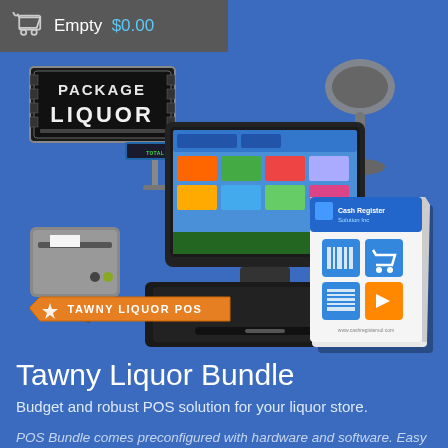Empty  $0.00
[Figure (photo): Tawny Liquor POS bundle product image showing a touchscreen POS terminal, cash drawer, receipt printer, barcode scanner, customer display, and software box, with a Package Liquor sign and an orange Tawny Liquor POS badge]
Tawny Liquor Bundle
Budget and robust POS solution for your liquor store.
POS Bundle comes preconfigured with hardware and software. Easy initial setup, just connect the wires and go.